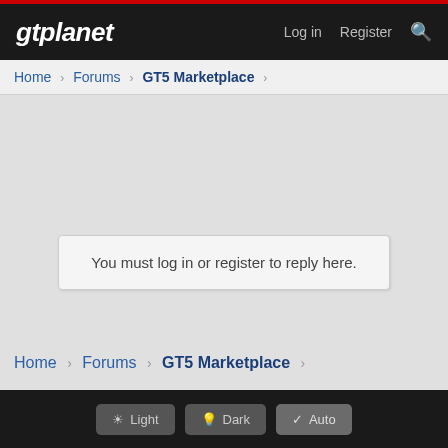gtplanet  Log in  Register
Home › Forums › GT5 Marketplace ›
You must log in or register to reply here.
Home › Forums › GT5 Marketplace ›
Light  Dark  Auto